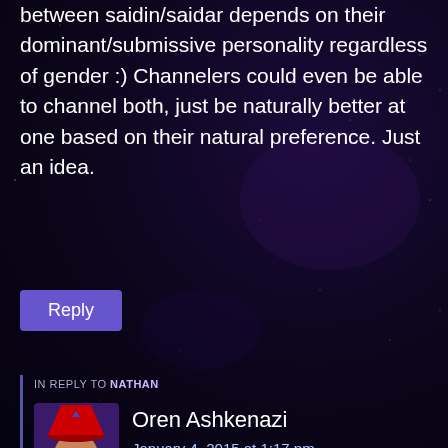between saidin/saidar depends on their dominant/submissive personality regardless of gender :) Channelers could even be able to channel both, just be naturally better at one based on their natural preference. Just an idea.
Reply
IN REPLY TO NATHAN
[Figure (photo): Avatar image of Oren Ashkenazi wearing a red wizard hat, illustrated style]
Oren Ashkenazi
January 4, 2015 at 1:17 pm
“Btw in my headcanon people’s channeling ability between saidin/saidar depends on their dominant/submissive personality regardless of